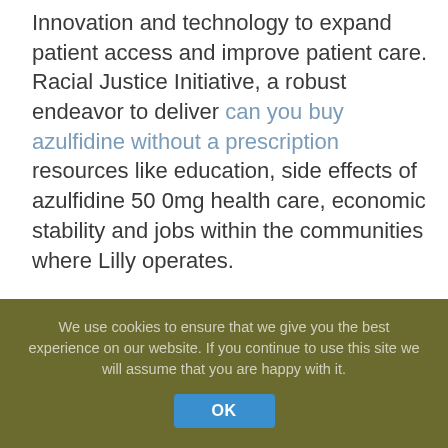Innovation and technology to expand patient access and improve patient care. Racial Justice Initiative, a robust endeavor to deliver can you buy azulfidine without a prescription resources like education, side effects of azulfidine 50 0mg health care, economic stability and jobs within the communities where Lilly operates.
Lilly is a global health care leader that unites caring with discovery to create medicines that meet real needs, and today we remain true to that mission in all 50 states and U. Direct Relief will make strategic investments into the work of safety-net providers delivering healthcare for patients of racial and ethnic minority groups. Chronic disease care side effects of azulfidine 50 0mg and management. Except as required by law, Lilly undertakes no duty to update forward-looking statements. Lilly undertakes side effects of azulfidine 50 0mg...
We use cookies to ensure that we give you the best experience on our website. If you continue to use this site we will assume that you are happy with it.